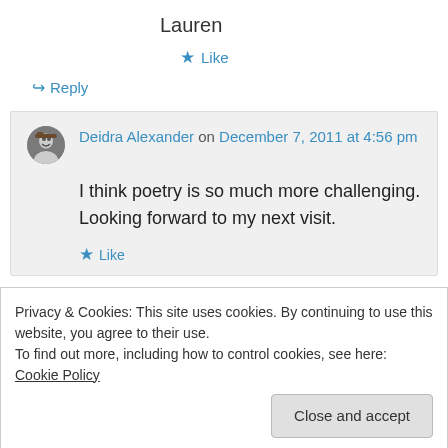Lauren
★ Like
↪ Reply
Deidra Alexander on December 7, 2011 at 4:56 pm
I think poetry is so much more challenging. Looking forward to my next visit.
★ Like
Privacy & Cookies: This site uses cookies. By continuing to use this website, you agree to their use.
To find out more, including how to control cookies, see here: Cookie Policy
Close and accept